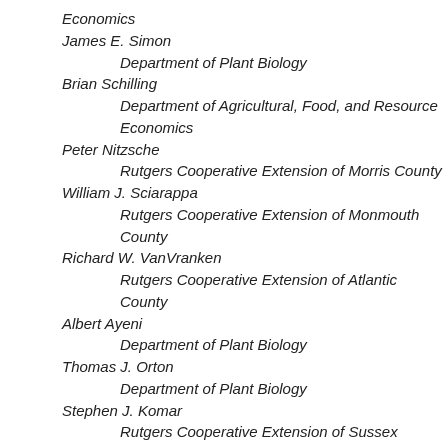Economics
James E. Simon
Department of Plant Biology
Brian Schilling
Department of Agricultural, Food, and Resource Economics
Peter Nitzsche
Rutgers Cooperative Extension of Morris County
William J. Sciarappa
Rutgers Cooperative Extension of Monmouth County
Richard W. VanVranken
Rutgers Cooperative Extension of Atlantic County
Albert Ayeni
Department of Plant Biology
Thomas J. Orton
Department of Plant Biology
Stephen J. Komar
Rutgers Cooperative Extension of Sussex